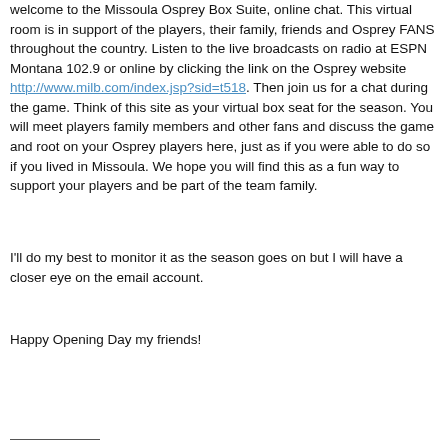welcome to the Missoula Osprey Box Suite, online chat. This virtual room is in support of the players, their family, friends and Osprey FANS throughout the country. Listen to the live broadcasts on radio at ESPN Montana 102.9 or online by clicking the link on the Osprey website http://www.milb.com/index.jsp?sid=t518. Then join us for a chat during the game. Think of this site as your virtual box seat for the season. You will meet players family members and other fans and discuss the game and root on your Osprey players here, just as if you were able to do so if you lived in Missoula. We hope you will find this as a fun way to support your players and be part of the team family.
I'll do my best to monitor it as the season goes on but I will have a closer eye on the email account.
Happy Opening Day my friends!